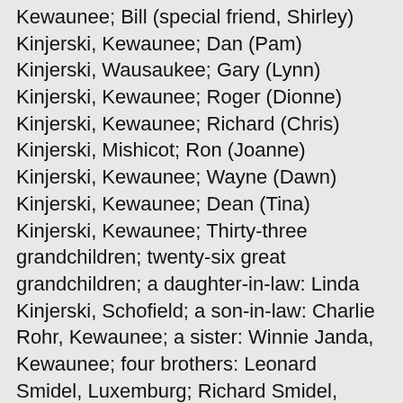Kewaunee; Bill (special friend, Shirley) Kinjerski, Kewaunee; Dan (Pam) Kinjerski, Wausaukee; Gary (Lynn) Kinjerski, Kewaunee; Roger (Dionne) Kinjerski, Kewaunee; Richard (Chris) Kinjerski, Mishicot; Ron (Joanne) Kinjerski, Kewaunee; Wayne (Dawn) Kinjerski, Kewaunee; Dean (Tina) Kinjerski, Kewaunee; Thirty-three grandchildren; twenty-six great grandchildren; a daughter-in-law: Linda Kinjerski, Schofield; a son-in-law: Charlie Rohr, Kewaunee; a sister: Winnie Janda, Kewaunee; four brothers: Leonard Smidel, Luxemburg; Richard Smidel, Kewaunee; Carl Smidel, Kewaunee; Norbert (Kim) Smidel, Mishicot; one brother-in-law: Isadore (Beverly) Kinjerski, Kewaunee; two sisters-in-law: Julie Kinjerski, Kewaunee; Sr. Joanne Kinjerski, Green Bay. She was preceded in death by a daughter: Jane Rohr; a son: Louie Kinjerski; granddaughter: Shannon Kinjerski; grandson-in-law: Brad Vanness and numerous brothers-in-law and sisters-in-law.
Visitation continues at St. Hedwig Church, East Krok from 9:30 a.m. Saturday until the time of services. Mass of